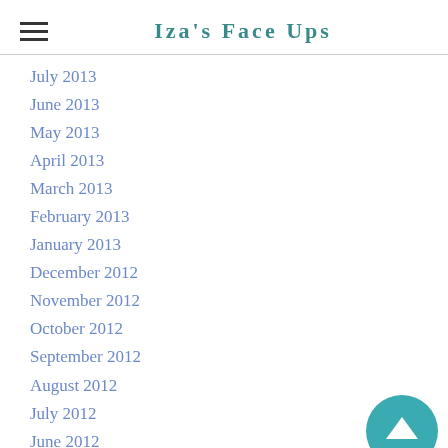Iza's Face Ups
July 2013
June 2013
May 2013
April 2013
March 2013
February 2013
January 2013
December 2012
November 2012
October 2012
September 2012
August 2012
July 2012
June 2012
Categories
All